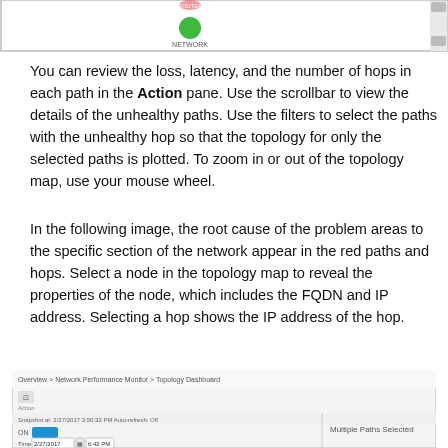[Figure (screenshot): Top portion of a network topology dashboard screenshot showing a green node on a white background with a scrollbar on the right.]
You can review the loss, latency, and the number of hops in each path in the Action pane. Use the scrollbar to view the details of the unhealthy paths. Use the filters to select the paths with the unhealthy hop so that the topology for only the selected paths is plotted. To zoom in or out of the topology map, use your mouse wheel.
In the following image, the root cause of the problem areas to the specific section of the network appear in the red paths and hops. Select a node in the topology map to reveal the properties of the node, which includes the FQDN and IP address. Selecting a hop shows the IP address of the hop.
[Figure (screenshot): Bottom portion of Network Performance Monitor Topology Dashboard screenshot showing breadcrumb navigation, action button, date/time filter fields, and Multiple Paths Selected label.]